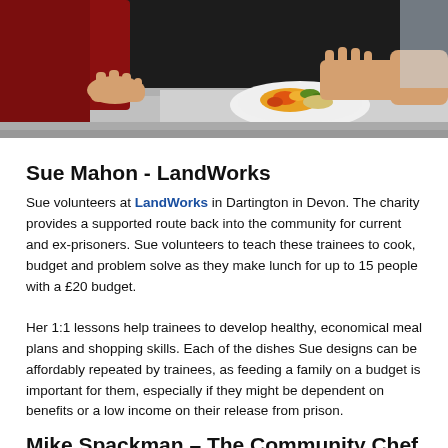[Figure (photo): Close-up photo of hands placing a plate of colorful food (vegetables, grains) onto a serving counter in a cafeteria or kitchen setting.]
Sue Mahon - LandWorks
Sue volunteers at LandWorks in Dartington in Devon. The charity provides a supported route back into the community for current and ex-prisoners. Sue volunteers to teach these trainees to cook, budget and problem solve as they make lunch for up to 15 people with a £20 budget.
Her 1:1 lessons help trainees to develop healthy, economical meal plans and shopping skills. Each of the dishes Sue designs can be affordably repeated by trainees, as feeding a family on a budget is important for them, especially if they might be dependent on benefits or a low income on their release from prison.
Mike Spackman – The Community Chef